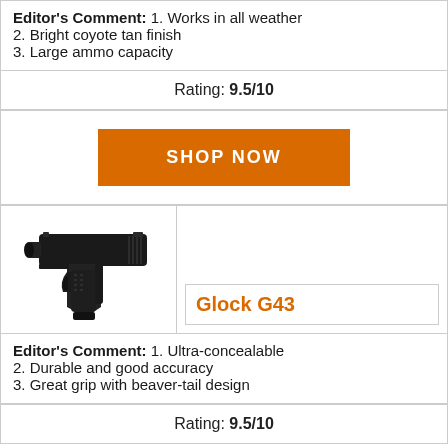Editor's Comment: 1. Works in all weather 2. Bright coyote tan finish 3. Large ammo capacity
Rating: 9.5/10
[Figure (other): Orange SHOP NOW button]
[Figure (photo): Glock G43 pistol, black, side view]
Glock G43
Editor's Comment: 1. Ultra-concealable 2. Durable and good accuracy 3. Great grip with beaver-tail design
Rating: 9.5/10